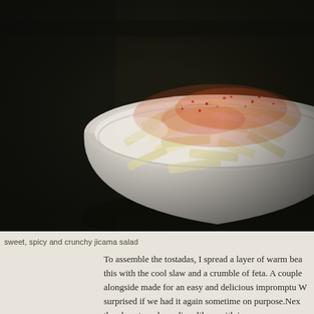[Figure (photo): Close-up photograph of a white bowl filled with jicama sticks dusted with red chili powder/spice, set on a dark wooden surface.]
sweet, spicy and crunchy jicama salad
To assemble the tostadas, I spread a layer of warm bea this with the cool slaw and a crumble of feta. A couple alongside made for an easy and delicious impromptu W surprised if we had it again sometime on purpose.Nex the aloe at a salsa a dicar like a with i